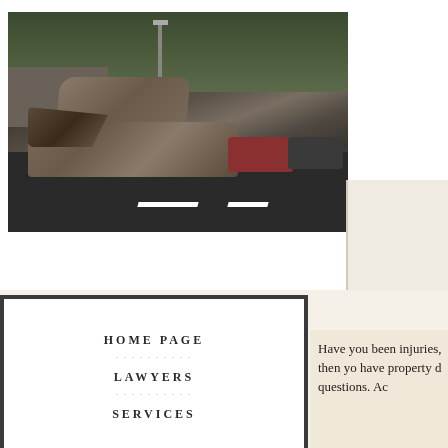[Figure (photo): A severely damaged/wrecked car on a city street, appearing burned and crushed, with other cars visible in background. Trees and a street light visible.]
HOME PAGE
LAWYERS
SERVICES
Have you been injuries, then yo have property d questions. Ac